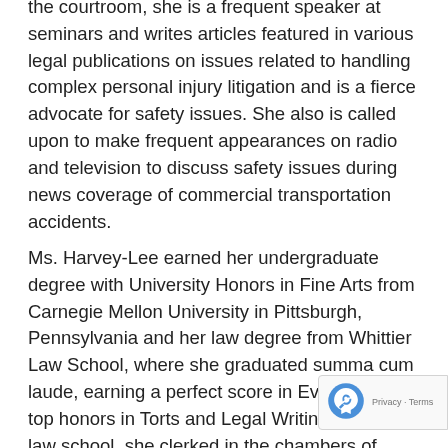the courtroom, she is a frequent speaker at seminars and writes articles featured in various legal publications on issues related to handling complex personal injury litigation and is a fierce advocate for safety issues. She also is called upon to make frequent appearances on radio and television to discuss safety issues during news coverage of commercial transportation accidents.
Ms. Harvey-Lee earned her undergraduate degree with University Honors in Fine Arts from Carnegie Mellon University in Pittsburgh, Pennsylvania and her law degree from Whittier Law School, where she graduated summa cum laude, earning a perfect score in Evidence and top honors in Torts and Legal Writing. While in law school, she clerked in the chambers of